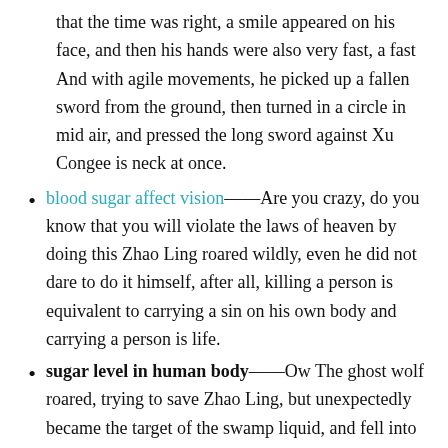that the time was right, a smile appeared on his face, and then his hands were also very fast, a fast And with agile movements, he picked up a fallen sword from the ground, then turned in a circle in mid air, and pressed the long sword against Xu Congee is neck at once.
blood sugar affect vision——Are you crazy, do you know that you will violate the laws of heaven by doing this Zhao Ling roared wildly, even he did not dare to do it himself, after all, killing a person is equivalent to carrying a sin on his own body and carrying a person is life.
sugar level in human body——Ow The ghost wolf roared, trying to save Zhao Ling, but unexpectedly became the target of the swamp liquid, and fell into the swamp and could not move.
diabetes management solutions——Not far.As Zhao Ling said, he walked through a small stream in front of him.It was said to be a small stream, but it had actually turned into a piece of ice, and the water surface had